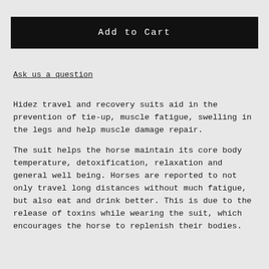Add to Cart
Ask us a question
Hidez travel and recovery suits aid in the prevention of tie-up, muscle fatigue, swelling in the legs and help muscle damage repair.
The suit helps the horse maintain its core body temperature, detoxification, relaxation and general well being. Horses are reported to not only travel long distances without much fatigue, but also eat and drink better. This is due to the release of toxins while wearing the suit, which encourages the horse to replenish their bodies.